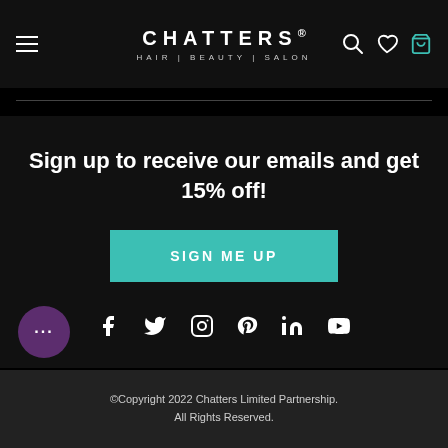CHATTERS HAIR | BEAUTY | SALON — navigation header with hamburger menu, logo, search, wishlist, and bag icons
Sign up to receive our emails and get 15% off!
SIGN ME UP
[Figure (infographic): Social media icons row: Facebook, Twitter, Instagram, Pinterest, LinkedIn, YouTube]
©Copyright 2022 Chatters Limited Partnership. All Rights Reserved.